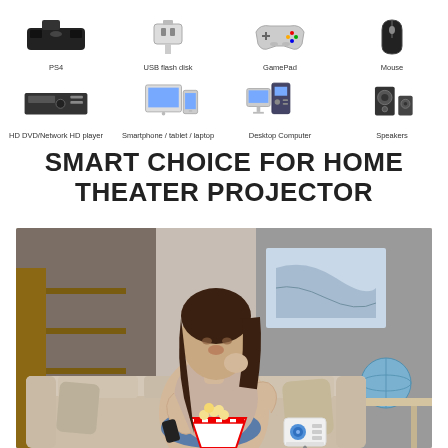[Figure (infographic): Grid of compatible device icons with labels: PS4, USB flash disk, GamePad, Mouse (top row); HD DVD/Network HD player, Smartphone/tablet/laptop, Desktop Computer, Speakers (bottom row)]
SMART CHOICE FOR HOME THEATER PROJECTOR
[Figure (photo): Woman sitting on a couch in a living room holding a remote control and eating popcorn, with a small white projector on a tripod beside her]